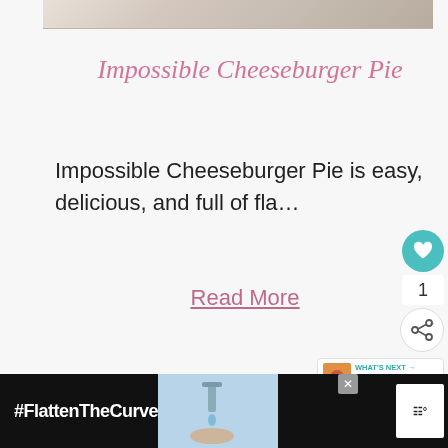[Figure (photo): Top portion of a food photo showing a creamy pie or dish, partially cropped]
Impossible Cheeseburger Pie
Impossible Cheeseburger Pie is easy, delicious, and full of fla…
Read More
[Figure (infographic): What's Next panel with thumbnail: 25 Lunch Box Notes]
[Figure (photo): Bottom advertisement bar with #FlattenTheCurve text and hand washing image]